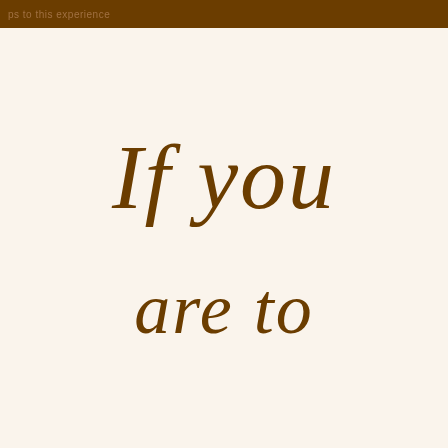ps to this experience
If you are to